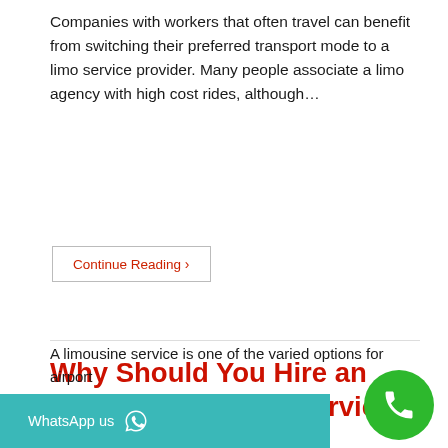Companies with workers that often travel can benefit from switching their preferred transport mode to a limo service provider. Many people associate a limo agency with high cost rides, although…
Continue Reading ›
Why Should You Hire an Airport Limousine Service?
nasrilah  ·  June 12, 2019  ·  Airport Transfer Singapore / Limousine Service / Maxi Cab  ·  0 Comments
A limousine service is one of the varied options for airport